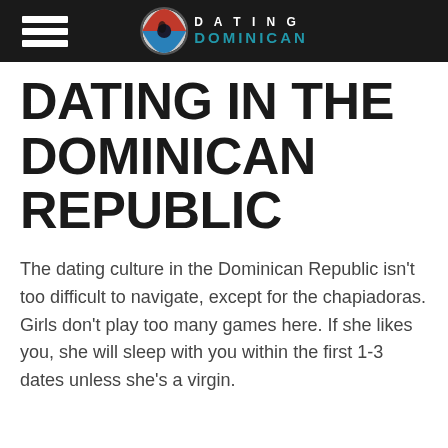DATING DOMINICAN
DATING IN THE DOMINICAN REPUBLIC
The dating culture in the Dominican Republic isn't too difficult to navigate, except for the chapiadoras. Girls don't play too many games here. If she likes you, she will sleep with you within the first 1-3 dates unless she's a virgin.